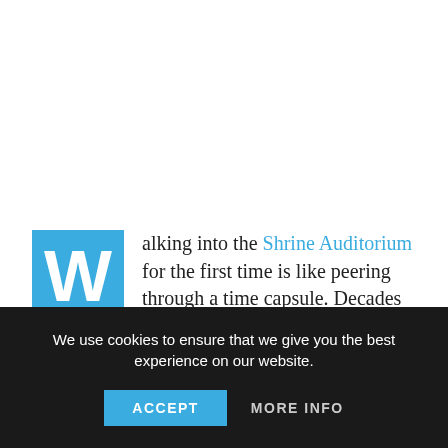Walking into the Shrine Auditorium for the first time is like peering through a time capsule. Decades of Hollywood history are etched into the graying walls of this historic entertainment landmark — the site of some of the most star-studded events in the business, including the Academy Awards, the Grammys, the Emmys
We use cookies to ensure that we give you the best experience on our website.
ACCEPT   MORE INFO